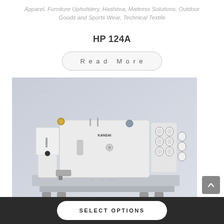Apparel, Furniture Upholstery, Hashima, Mattress Solutions, Outdoor Goods and Sports Wear, Technical Textile
HP 124A
Read More
[Figure (photo): Kansai HP 124A industrial sewing machine, white body with multiple thread spools on right side, photographed on light grey background]
SELECT OPTIONS